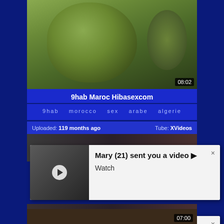[Figure (screenshot): Video thumbnail showing a person's face with greenish tint, duration 08:02]
9hab Maroc Hibasexcom
9hab   morocco   sex   arabe   algerie
Uploaded: 119 months ago    Tube: XVideos
[Figure (screenshot): Notification popup: Mary (21) sent you a video ▶ Watch]
[Figure (screenshot): Notification popup: Mary (21) sent you a video ▶ Watch]
[Figure (screenshot): Bottom video thumbnail with duration 07:00]